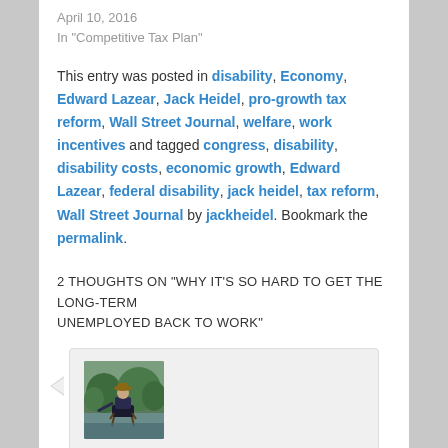April 10, 2016
In "Competitive Tax Plan"
This entry was posted in disability, Economy, Edward Lazear, Jack Heidel, pro-growth tax reform, Wall Street Journal, welfare, work incentives and tagged congress, disability, disability costs, economic growth, Edward Lazear, federal disability, jack heidel, tax reform, Wall Street Journal by jackheidel. Bookmark the permalink.
2 THOUGHTS ON "WHY IT'S SO HARD TO GET THE LONG-TERM UNEMPLOYED BACK TO WORK"
[Figure (photo): Avatar photo of a person sitting in a chair outdoors near water and trees]
Ann Kilter on June 30, 2013 at 5:16 pm said:
I would like to know the age range of those who are long-term unemployed/on disability. In this